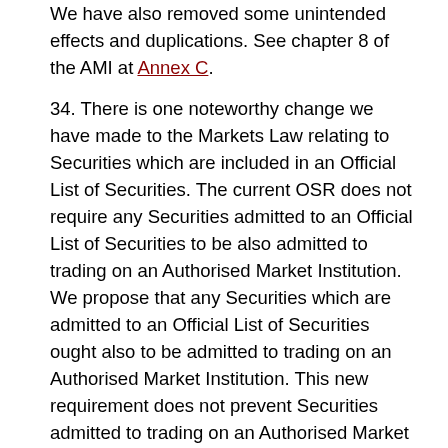We have also removed some unintended effects and duplications. See chapter 8 of the AMI at Annex C.
34. There is one noteworthy change we have made to the Markets Law relating to Securities which are included in an Official List of Securities. The current OSR does not require any Securities admitted to an Official List of Securities to be also admitted to trading on an Authorised Market Institution. We propose that any Securities which are admitted to an Official List of Securities ought also to be admitted to trading on an Authorised Market Institution. This new requirement does not prevent Securities admitted to trading on an Authorised Market Institution from being also admitted to trading on other exchanges, including those outside the DIFC. It is designed to promote, consistently with international practice, a greater degree of transparency relating to the trading of the relevant Securities wherever such trading occurs (see Article 33(3) of the Markets Law). We have also included transitional provisions so that existing listings of debt Securities which are not admitted to trading on an Authorised Market Institution can continue.